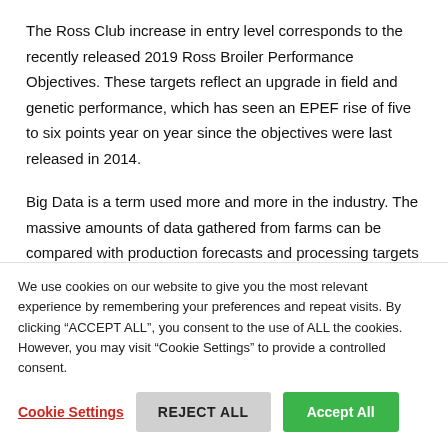The Ross Club increase in entry level corresponds to the recently released 2019 Ross Broiler Performance Objectives. These targets reflect an upgrade in field and genetic performance, which has seen an EPEF rise of five to six points year on year since the objectives were last released in 2014.
Big Data is a term used more and more in the industry. The massive amounts of data gathered from farms can be compared with production forecasts and processing targets to achieve greater accuracy. Big Data is allowing people to predict
We use cookies on our website to give you the most relevant experience by remembering your preferences and repeat visits. By clicking "ACCEPT ALL", you consent to the use of ALL the cookies. However, you may visit "Cookie Settings" to provide a controlled consent.
Cookie Settings | REJECT ALL | Accept All